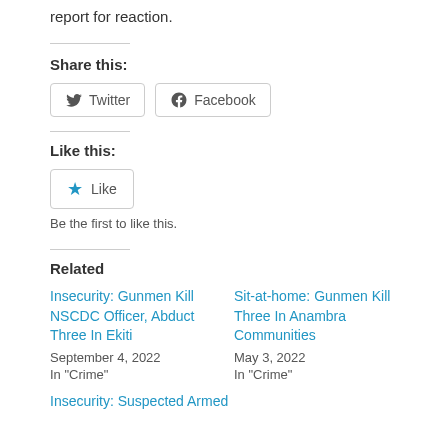report for reaction.
Share this:
Twitter  Facebook
Like this:
Like
Be the first to like this.
Related
Insecurity: Gunmen Kill NSCDC Officer, Abduct Three In Ekiti
September 4, 2022
In "Crime"

Sit-at-home: Gunmen Kill Three In Anambra Communities
May 3, 2022
In "Crime"
Insecurity: Suspected Armed